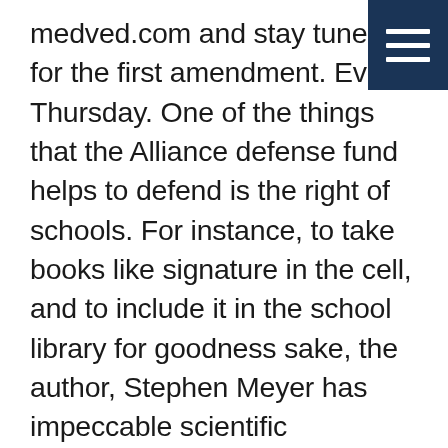[Figure (other): Dark navy blue hamburger menu button in top-right corner with three horizontal white lines]
medved.com and stay tuned for the first amendment. Every Thursday. One of the things that the Alliance defense fund helps to defend is the right of schools. For instance, to take books like signature in the cell, and to include it in the school library for goodness sake, the author, Stephen Meyer has impeccable scientific credentials, a doctorate degree from Cambridge university in great Britain. And, uh, yet you will find that there are people who will try because the book advocates for intelligent design will try to exclude it from public school libraries. That’s the kind of outrage that needs to be resisted. Seems to me, Tim, in Minneapolis, you’re on